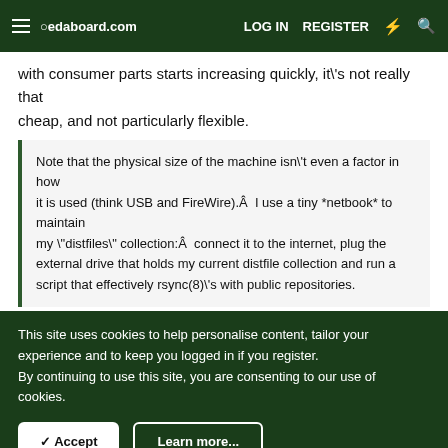edaboard.com | LOG IN | REGISTER
with consumer parts starts increasing quickly, it\'s not really that cheap, and not particularly flexible.
Note that the physical size of the machine isn\'t even a factor in how it is used (think USB and FireWire).Â  I use a tiny *netbook* to maintain my \'distfiles\' collection:Â  connect it to the internet, plug the external drive that holds my current distfile collection and run a script that effectively rsync(8)\'s with public repositories.
This site uses cookies to help personalise content, tailor your experience and to keep you logged in if you register. By continuing to use this site, you are consenting to our use of cookies.